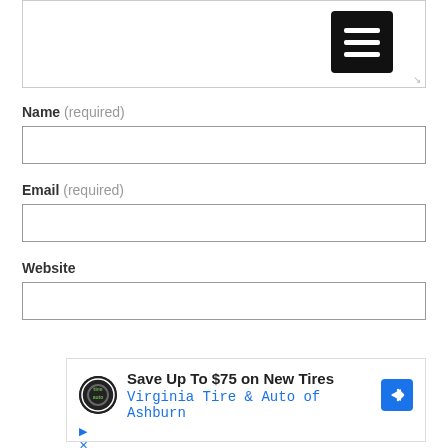[Figure (screenshot): A textarea input box with a black hamburger menu button (three white horizontal bars) in the top-right corner]
Name (required)
[Figure (screenshot): Empty text input field for Name]
Email (required)
[Figure (screenshot): Empty text input field for Email]
Website
[Figure (screenshot): Empty text input field for Website]
[Figure (infographic): Advertisement banner: Save Up To $75 on New Tires - Virginia Tire & Auto of Ashburn, with logo and blue arrow icon]